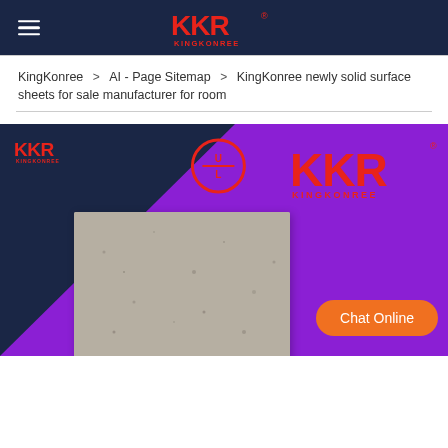KKR KINGKONREE (logo/navigation header)
KingKonree  >  AI - Page Sitemap  >  KingKonree newly solid surface sheets for sale manufacturer for room
[Figure (photo): Product banner image showing KKR KingKonree branding on a purple/violet background with a dark blue triangle overlay, KKR logo top-left, UL certification badge center, large KKR KINGKONREE logo right, and a stone/solid surface material slab sample in the foreground. An orange 'Chat Online' button is overlaid bottom-right.]